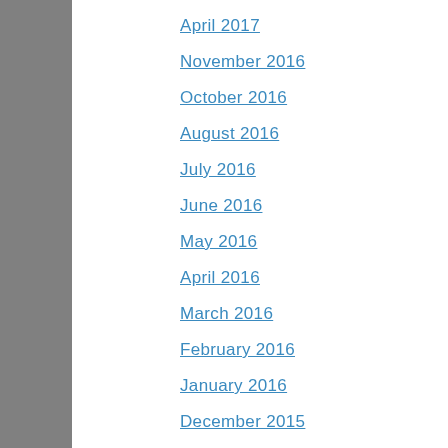April 2017
November 2016
October 2016
August 2016
July 2016
June 2016
May 2016
April 2016
March 2016
February 2016
January 2016
December 2015
November 2015
October 2015
September 2013
February 2013